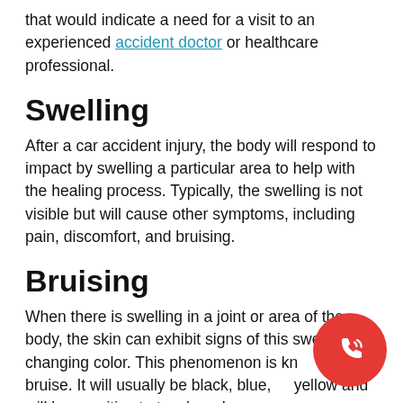that would indicate a need for a visit to an experienced accident doctor or healthcare professional.
Swelling
After a car accident injury, the body will respond to impact by swelling a particular area to help with the healing process. Typically, the swelling is not visible but will cause other symptoms, including pain, discomfort, and bruising.
Bruising
When there is swelling in a joint or area of the body, the skin can exhibit signs of this swelling by changing color. This phenomenon is known as a bruise. It will usually be black, blue, or yellow and will be sensitive to touch and cause pain. This swelling often indicates the need to
[Figure (illustration): Red circular phone/call button icon with white phone handset and signal waves]